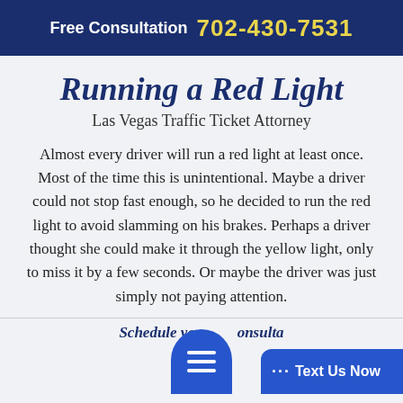Free Consultation 702-430-7531
Running a Red Light
Las Vegas Traffic Ticket Attorney
Almost every driver will run a red light at least once. Most of the time this is unintentional. Maybe a driver could not stop fast enough, so he decided to run the red light to avoid slamming on his brakes. Perhaps a driver thought she could make it through the yellow light, only to miss it by a few seconds. Or maybe the driver was just simply not paying attention.
Schedule your free consultation